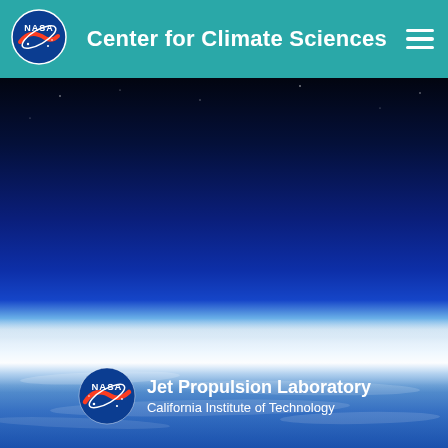Center for Climate Sciences
[Figure (photo): Aerial/orbital photograph of Earth showing the atmosphere from above — dark space at the top, deep blue atmosphere, a bright white horizon line with clouds below, and the blue ocean/surface visible beneath hazy cloud layers.]
[Figure (logo): NASA Jet Propulsion Laboratory logo: NASA meatball logo (blue circle with red chevron and white text) alongside text 'Jet Propulsion Laboratory / California Institute of Technology' in white on dark blue background.]